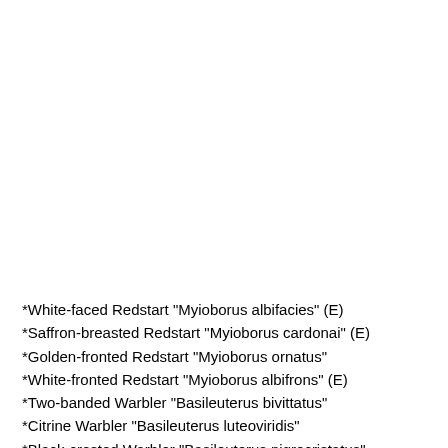*White-faced Redstart "Myioborus albifacies" (E)
*Saffron-breasted Redstart "Myioborus cardonai" (E)
*Golden-fronted Redstart "Myioborus ornatus"
*White-fronted Redstart "Myioborus albifrons" (E)
*Two-banded Warbler "Basileuterus bivittatus"
*Citrine Warbler "Basileuterus luteoviridis"
*Black-crested Warbler "Basileuterus nigrocristatus"